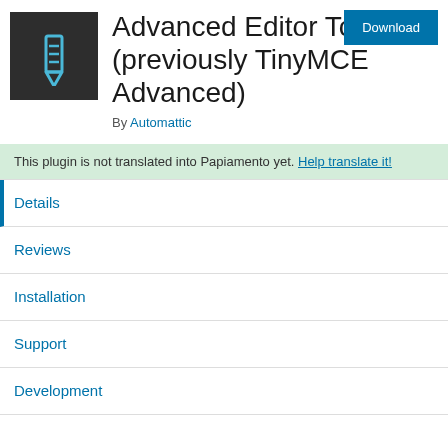[Figure (logo): Dark gray square with a blue pencil/edit icon (stylized pencil outline in light blue)]
Advanced Editor Tools (previously TinyMCE Advanced)
By Automattic
This plugin is not translated into Papiamento yet. Help translate it!
Details
Reviews
Installation
Support
Development